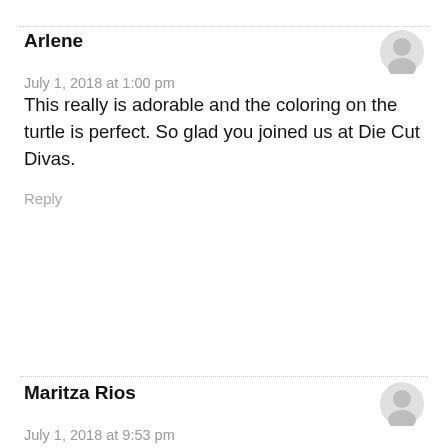Arlene
July 1, 2018 at 1:00 pm
This really is adorable and the coloring on the turtle is perfect. So glad you joined us at Die Cut Divas.
Reply
Maritza Rios
July 1, 2018 at 9:53 pm
Cute card! Thanks you for joining